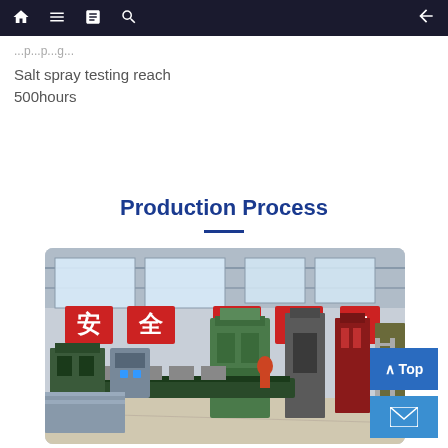Navigation bar with home, menu, document, search icons and back arrow
Salt spray testing reach 500hours
Production Process
[Figure (photo): Interior of a manufacturing facility showing industrial machinery including large green stamping/press machines, assembly lines, and red safety banners with Chinese characters reading 安全法规 (Safety Regulations) on the walls of a large factory hall.]